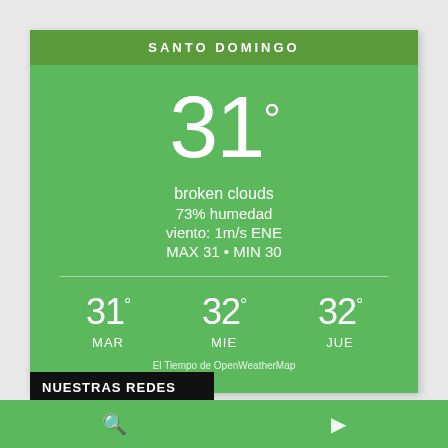SANTO DOMINGO
31°
broken clouds
73% humedad
viento: 1m/s ENE
MAX 31 • MIN 30
31° MAR   32° MIE   32° JUE
El Tiempo de OpenWeatherMap
NUESTRAS REDES